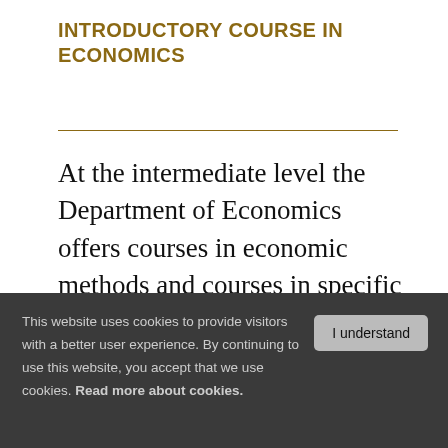INTRODUCTORY COURSE IN ECONOMICS
At the intermediate level the Department of Economics offers courses in economic methods and courses in specific subjects in Economics. This gives the student the possibility to combine courses based
This website uses cookies to provide visitors with a better user experience. By continuing to use this website, you accept that we use cookies. Read more about cookies.